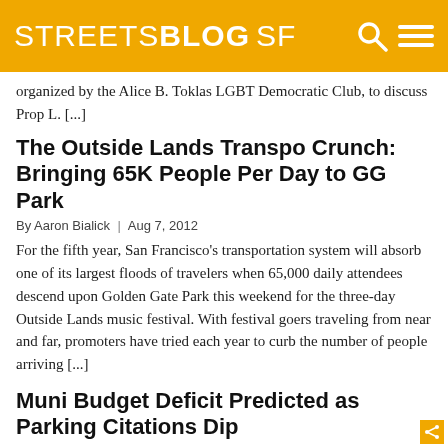STREETSBLOG SF
organized by the Alice B. Toklas LGBT Democratic Club, to discuss Prop L. [...]
The Outside Lands Transpo Crunch: Bringing 65K People Per Day to GG Park
By Aaron Bialick | Aug 7, 2012
For the fifth year, San Francisco’s transportation system will absorb one of its largest floods of travelers when 65,000 daily attendees descend upon Golden Gate Park this weekend for the three-day Outside Lands music festival. With festival goers traveling from near and far, promoters have tried each year to curb the number of people arriving [...]
Muni Budget Deficit Predicted as Parking Citations Dip
By Matthew Roth | Nov 2, 2012